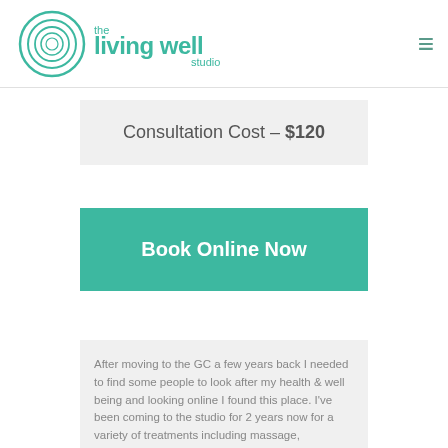the living well studio
Consultation Cost – $120
Book Online Now
After moving to the GC a few years back I needed to find some people to look after my health & well being and looking online I found this place. I've been coming to the studio for 2 years now for a variety of treatments including massage, acupuncture, physio, pilates &